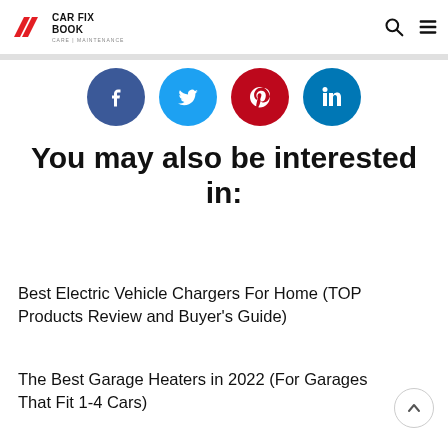CAR FIX BOOK CARE | MAINTENANCE
[Figure (infographic): Four social media share buttons: Facebook (dark blue circle), Twitter (light blue circle), Pinterest (red circle), LinkedIn (blue circle)]
You may also be interested in:
Best Electric Vehicle Chargers For Home (TOP Products Review and Buyer's Guide)
The Best Garage Heaters in 2022 (For Garages That Fit 1-4 Cars)